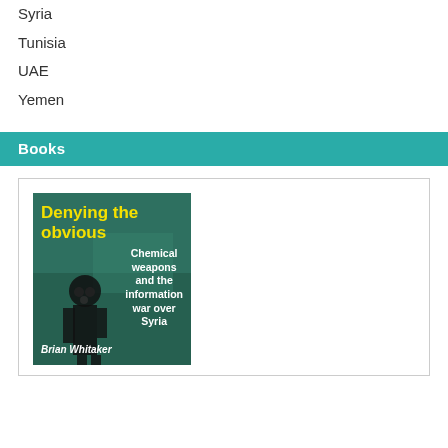Syria
Tunisia
UAE
Yemen
Books
[Figure (illustration): Book cover: 'Denying the obvious — Chemical weapons and the information war over Syria' by Brian Whitaker. Dark green background with a silhouette figure wearing a gas mask. Title in yellow bold text, subtitle and author in white.]